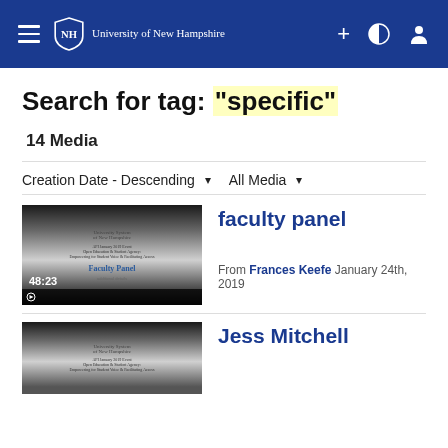University of New Hampshire navigation bar
Search for tag: "specific"
14 Media
Creation Date - Descending ▾  All Media ▾
[Figure (screenshot): Thumbnail of faculty panel video, showing University System of New Hampshire slide, duration 48:23]
faculty panel
From Frances Keefe January 24th, 2019
[Figure (screenshot): Thumbnail of Jess Mitchell video]
Jess Mitchell